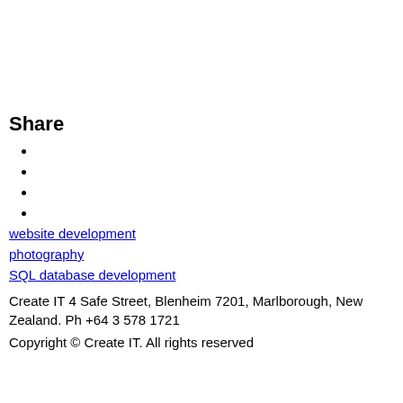Share
website development
photography
SQL database development
Create IT 4 Safe Street, Blenheim 7201, Marlborough, New Zealand. Ph +64 3 578 1721
Copyright © Create IT. All rights reserved